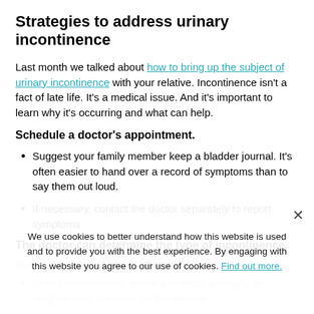Strategies to address urinary incontinence
Last month we talked about how to bring up the subject of urinary incontinence with your relative. Incontinence isn't a fact of late life. It's a medical issue. And it's important to learn why it's occurring and what can help.
Schedule a doctor's appointment.
Suggest your family member keep a bladder journal. It's often easier to hand over a record of symptoms than to say them out loud.
If necessary, contact the doctor separately to report symptoms.
The doctor can determine the type of incontinence.
We use cookies to better understand how this website is used and to provide you with the best experience. By engaging with this website you agree to our use of cookies. Find out more.